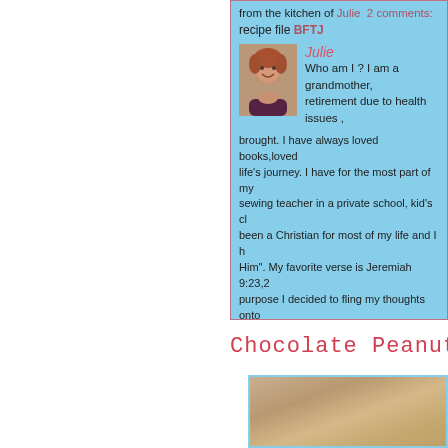from the kitchen of Julie   2 comments:
recipe file BFTJ
Julie
[Figure (photo): Profile photo of Julie, a woman with reddish hair smiling]
Who am I ? I am a grandmother, retirement due to health issues, brought. I have always loved books,loved life's journey. I have for the most part of my sewing teacher in a private school, kid's ch been a Christian for most of my life and I h Him". My favorite verse is Jeremiah 9:23,2 purpose I decided to fling my thoughts onto record them. If you are reading this.... plea julie
Chocolate Peanut Bu
[Figure (photo): Close-up photo of what appears to be chocolate peanut butter food item, brownish-tan color]